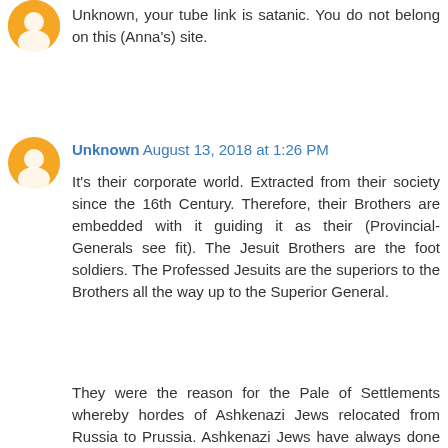Unknown, your tube link is satanic. You do not belong on this (Anna's) site.
Unknown August 13, 2018 at 1:26 PM
It's their corporate world. Extracted from their society since the 16th Century. Therefore, their Brothers are embedded with it guiding it as their (Provincial- Generals see fit). The Jesuit Brothers are the foot soldiers. The Professed Jesuits are the superiors to the Brothers all the way up to the Superior General.
They were the reason for the Pale of Settlements whereby hordes of Ashkenazi Jews relocated from Russia to Prussia. Ashkenazi Jews have always done the Jesuit's bidding lest they experience the Jesuit wrath (Holocaust). It's better to join them than to go against them because they are tapped into the pulse of "THEIR" corporate world which they believe is the Dead Body of Christ.